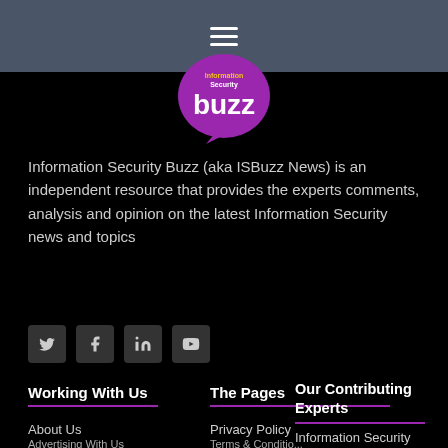Navigation menu (hamburger icon)
[Figure (logo): Information Security Buzz logo - purple speech bubble with 'buzz' text and 'Information Security' above]
Information Security Buzz (aka ISBuzz News) is an independent resource that provides the experts comments, analysis and opinion on the latest Information Security news and topics
[Figure (other): Social media icons row: Twitter, Facebook, LinkedIn, YouTube]
Working With Us
The Pages
Our Contributing Experts
About Us
Privacy Policy
Information Security